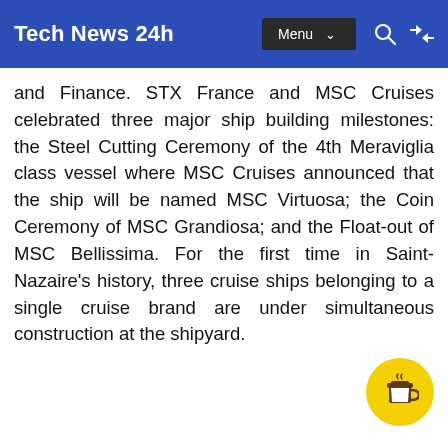Tech News 24h
and Finance. STX France and MSC Cruises celebrated three major ship building milestones: the Steel Cutting Ceremony of the 4th Meraviglia class vessel where MSC Cruises announced that the ship will be named MSC Virtuosa; the Coin Ceremony of MSC Grandiosa; and the Float-out of MSC Bellissima. For the first time in Saint-Nazaire's history, three cruise ships belonging to a single cruise brand are under simultaneous construction at the shipyard.